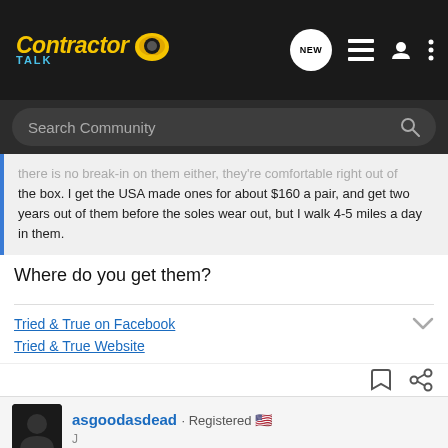Contractor Talk - Header navigation with search
there is no break-in on them either, they're comfortable right out of the box. I get the USA made ones for about $160 a pair, and get two years out of them before the soles wear out, but I walk 4-5 miles a day in them.
Where do you get them?
Tried & True on Facebook
Tried & True Website
asgoodasdead · Registered 🇺🇸
[Figure (screenshot): Scotch Painter's Tape advertisement banner with GET YOUR TAPE call to action and 3M logo]